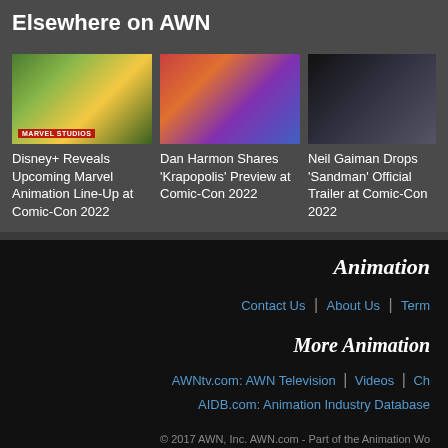Elsewhere on AWN
[Figure (photo): Disney+ Marvel animation image with Groot-like character in a lush green environment, Marvel Studios badge]
Disney+ Reveals Upcoming Marvel Animation Line-Up at Comic-Con 2022
[Figure (photo): Krapopolis animated show characters in a colorful ancient Greek setting]
Dan Harmon Shares 'Krapopolis' Preview at Comic-Con 2022
[Figure (photo): Dark atmospheric image for The Sandman - silhouette figure with dark blue tones]
Neil Gaiman Drops 'Sandman' Official Trailer at Comic-Con 2022
Animation
Contact Us | About Us | Term
More Animation
AWNtv.com: AWN Television | Videos | Ch
AIDB.com: Animation Industry Database
© 2017 AWN, Inc. AWN.com - Part of the Animation Wo